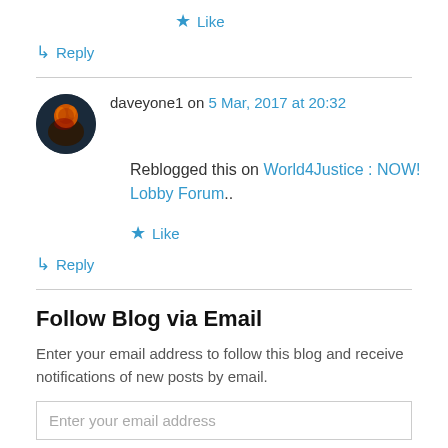★ Like
↳ Reply
daveyone1 on 5 Mar, 2017 at 20:32
Reblogged this on World4Justice : NOW! Lobby Forum..
★ Like
↳ Reply
Follow Blog via Email
Enter your email address to follow this blog and receive notifications of new posts by email.
Enter your email address